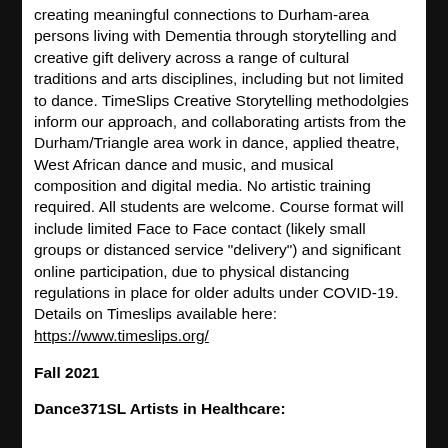creating meaningful connections to Durham-area persons living with Dementia through storytelling and creative gift delivery across a range of cultural traditions and arts disciplines, including but not limited to dance. TimeSlips Creative Storytelling methodolgies inform our approach, and collaborating artists from the Durham/Triangle area work in dance, applied theatre, West African dance and music, and musical composition and digital media. No artistic training required. All students are welcome. Course format will include limited Face to Face contact (likely small groups or distanced service "delivery") and significant online participation, due to physical distancing regulations in place for older adults under COVID-19. Details on Timeslips available here: https://www.timeslips.org/
Fall 2021
Dance371SL Artists in Healthcare: